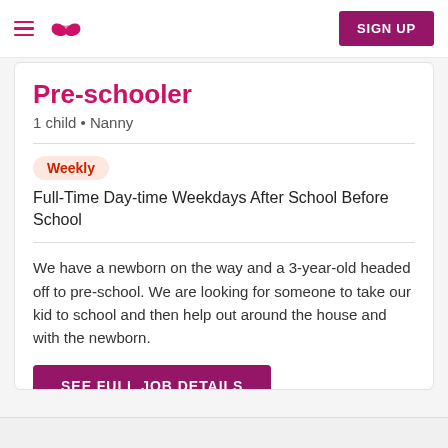SIGN UP
Pre-schooler
1 child • Nanny
Weekly
Full-Time Day-time Weekdays After School Before School
We have a newborn on the way and a 3-year-old headed off to pre-school. We are looking for someone to take our kid to school and then help out around the house and with the newborn.
SEE FULL JOB DETAILS
Posted by Grant C. on 8/9/2022
Report job
Jump to Top